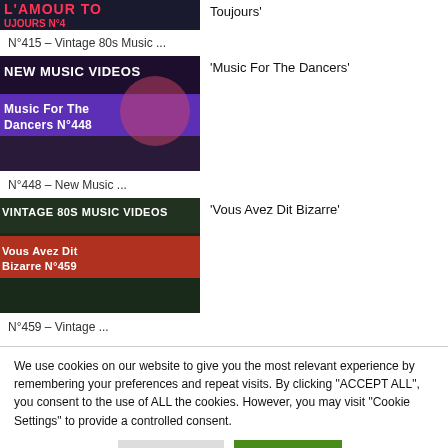[Figure (screenshot): Partial thumbnail of 'L'Amour Toujours N°415' music video]
'L'Amour Toujours'
N°415 – Vintage 80s Music ...
[Figure (screenshot): Thumbnail of 'Music For The Dancers N°448' new music videos]
'Music For The Dancers'
N°448 – New Music ...
[Figure (screenshot): Thumbnail of 'Vous Avez Dit Bizarre N°459' vintage 80s music videos]
'Vous Avez Dit Bizarre'
N°459 – Vintage ...
We use cookies on our website to give you the most relevant experience by remembering your preferences and repeat visits. By clicking "ACCEPT ALL", you consent to the use of ALL the cookies. However, you may visit "Cookie Settings" to provide a controlled consent.
Cookie Settings
REJECT ALL
ACCEPT ALL